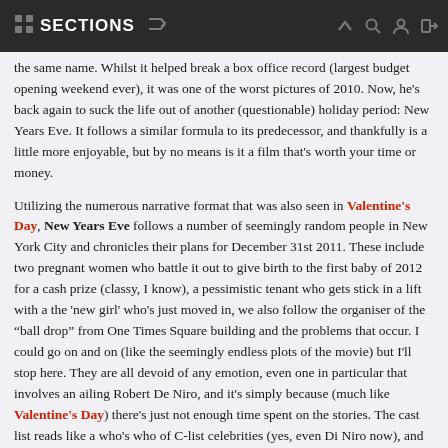SECTIONS
the same name. Whilst it helped break a box office record (largest budget opening weekend ever), it was one of the worst pictures of 2010. Now, he's back again to suck the life out of another (questionable) holiday period: New Years Eve. It follows a similar formula to its predecessor, and thankfully is a little more enjoyable, but by no means is it a film that's worth your time or money.
Utilizing the numerous narrative format that was also seen in Valentine's Day, New Years Eve follows a number of seemingly random people in New York City and chronicles their plans for December 31st 2011. These include two pregnant women who battle it out to give birth to the first baby of 2012 for a cash prize (classy, I know), a pessimistic tenant who gets stick in a lift with a the 'new girl' who's just moved in, we also follow the organiser of the "ball drop" from One Times Square building and the problems that occur. I could go on and on (like the seemingly endless plots of the movie) but I'll stop here. They are all devoid of any emotion, even one in particular that involves an ailing Robert De Niro, and it's simply because (much like Valentine's Day) there's just not enough time spent on the stories. The cast list reads like a who's who of C-list celebrities (yes, even Di Niro now), and their performances are as average as you'd expect. The final act tries much to hard to tie everything up and connect all the stories; one that involves Zac Efron is truly unbelievable and is the definition of 'scraping the barrel'. I will give a bit of credit (and the second star of this review, actually) to the way the narrative of Sam, the bachelor who waits a year